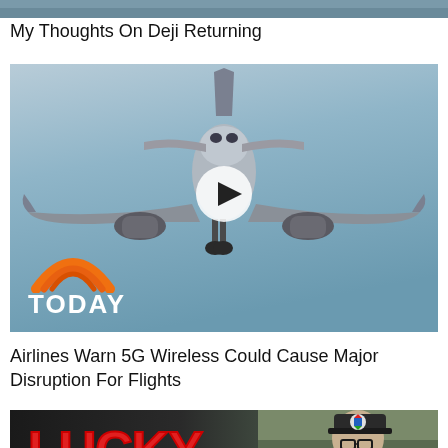[Figure (photo): Partial top strip of a photo (cropped, showing only bottom edge)]
My Thoughts On Deji Returning
[Figure (screenshot): Video thumbnail showing an airplane approaching head-on against a blue sky, with a white play button circle in the center and the TODAY show logo (orange rainbow + white text) in the bottom left corner]
Airlines Warn 5G Wireless Could Cause Major Disruption For Flights
[Figure (photo): Bottom video thumbnail showing red bold text 'LUCKY' on dark background, with a person wearing glasses and a dark cap with colorful logo on the right side]